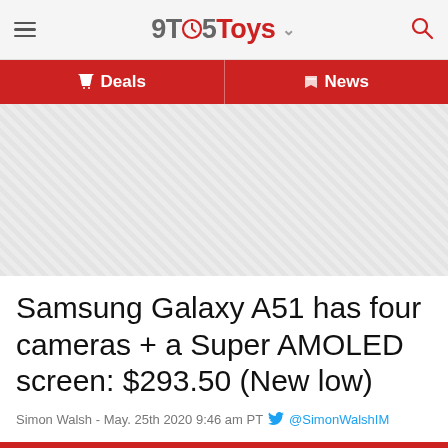9TO5Toys
Deals | News
[Figure (other): Advertisement placeholder with diagonal stripe pattern]
Samsung Galaxy A51 has four cameras + a Super AMOLED screen: $293.50 (New low)
Simon Walsh - May. 25th 2020 9:46 am PT @SimonWalshIM
AMAZON
ANDROID
SAMSUNG